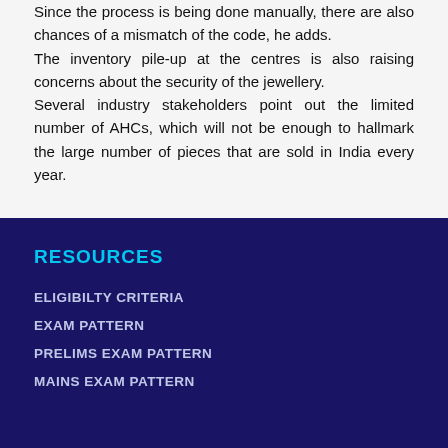Since the process is being done manually, there are also chances of a mismatch of the code, he adds.
The inventory pile-up at the centres is also raising concerns about the security of the jewellery.
Several industry stakeholders point out the limited number of AHCs, which will not be enough to hallmark the large number of pieces that are sold in India every year.
RESOURCES
ELIGIBILTY CRITERIA
EXAM PATTERN
PRELIMS EXAM PATTERN
MAINS EXAM PATTERN